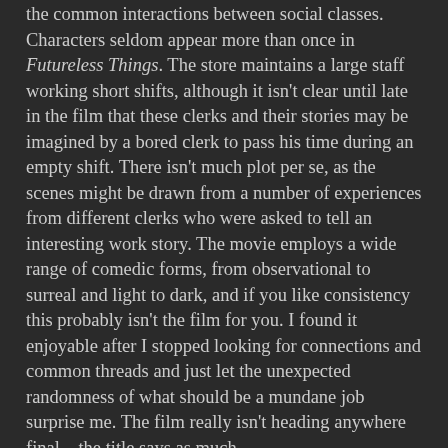the common interactions between social classes. Characters seldom appear more than once in Futureless Things. The store maintains a large staff working short shifts, although it isn't clear until late in the film that these clerks and their stories may be imagined by a bored clerk to pass his time during an empty shift. There isn't much plot per se, as the scenes might be drawn from a number of experiences from different clerks who were asked to tell an interesting work story. The movie employs a wide range of comedic forms, from observational to surreal and light to dark, and if you like consistency this probably isn't the film for you. I found it enjoyable after I stopped looking for connections and common threads and just let the unexpected randomness of what should be a mundane job surprise me. The film really isn't heading anywhere final…the title says as much.
Not all of the sketches work, but there are enough that do to warrant a recommendation if one is in need of a low-key chuckle. Highlights for me included Paul Lee as a clerk who is learning English from recorded lessons that appear to be preparing him to participate in unlikely and mildly unpleasant conversations, and the aforementioned lost audition. While it